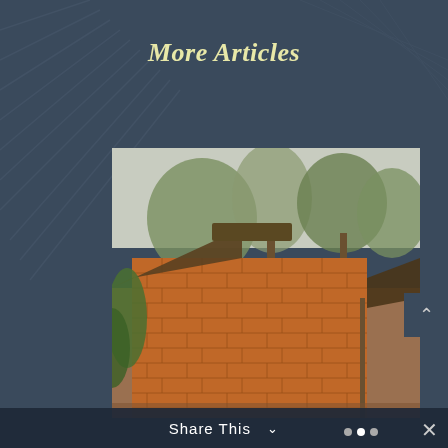More Articles
[Figure (photo): Photograph of a brick building with a thatched/grass roof, trees visible in the background, taken outdoors in a rural setting.]
Share This ∨
✕